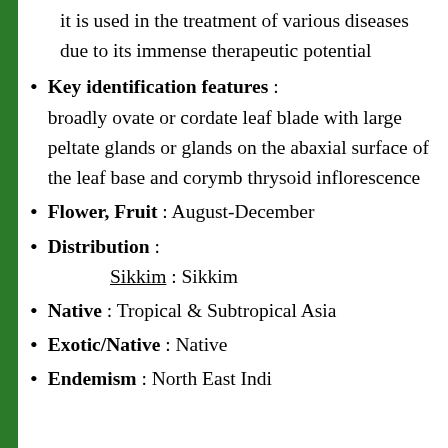it is used in the treatment of various diseases due to its immense therapeutic potential
Key identification features : broadly ovate or cordate leaf blade with large peltate glands or glands on the abaxial surface of the leaf base and corymb thrysoid inflorescence
Flower, Fruit : August-December
Distribution : Sikkim : Sikkim
Native : Tropical & Subtropical Asia
Exotic/Native : Native
Endemism : North East India